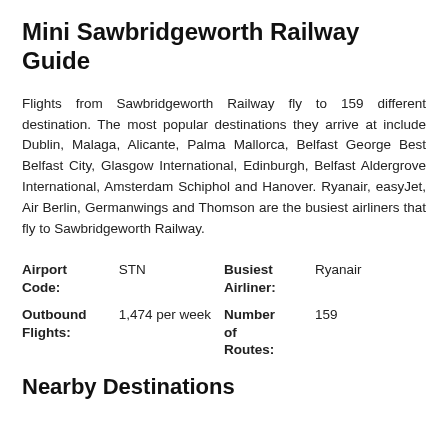Mini Sawbridgeworth Railway Guide
Flights from Sawbridgeworth Railway fly to 159 different destination. The most popular destinations they arrive at include Dublin, Malaga, Alicante, Palma Mallorca, Belfast George Best Belfast City, Glasgow International, Edinburgh, Belfast Aldergrove International, Amsterdam Schiphol and Hanover. Ryanair, easyJet, Air Berlin, Germanwings and Thomson are the busiest airliners that fly to Sawbridgeworth Railway.
| Airport Code: | STN | Busiest Airliner: | Ryanair |
| --- | --- | --- | --- |
| Outbound Flights: | 1,474 per week | Number of Routes: | 159 |
Nearby Destinations